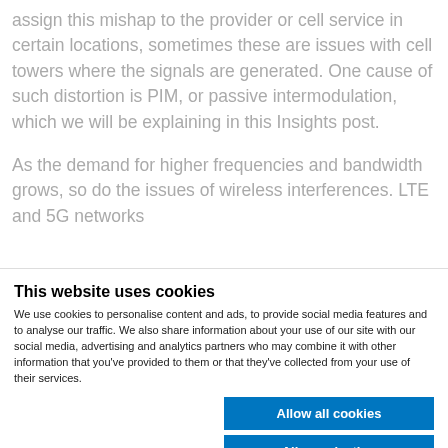assign this mishap to the provider or cell service in certain locations, sometimes these are issues with cell towers where the signals are generated. One cause of such distortion is PIM, or passive intermodulation, which we will be explaining in this Insights post.
As the demand for higher frequencies and bandwidth grows, so do the issues of wireless interferences. LTE and 5G networks
This website uses cookies
We use cookies to personalise content and ads, to provide social media features and to analyse our traffic. We also share information about your use of our site with our social media, advertising and analytics partners who may combine it with other information that you've provided to them or that they've collected from your use of their services.
Allow all cookies
Allow selection